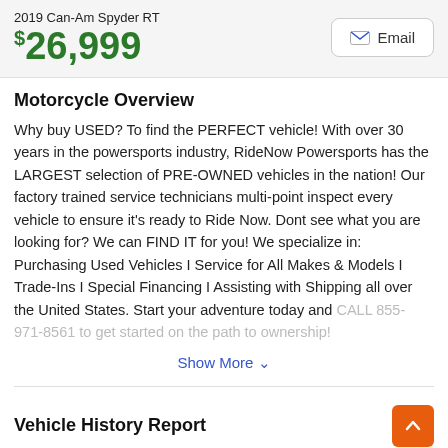2019 Can-Am Spyder RT
$26,999
Motorcycle Overview
Why buy USED? To find the PERFECT vehicle! With over 30 years in the powersports industry, RideNow Powersports has the LARGEST selection of PRE-OWNED vehicles in the nation! Our factory trained service technicians multi-point inspect every vehicle to ensure it's ready to Ride Now. Dont see what you are looking for? We can FIND IT for you! We specialize in: Purchasing Used Vehicles I Service for All Makes & Models I Trade-Ins I Special Financing I Assisting with Shipping all over the United States. Start your adventure today and CALL 855-971-8561 to get started on the path to ownership!
Show More
Vehicle History Report